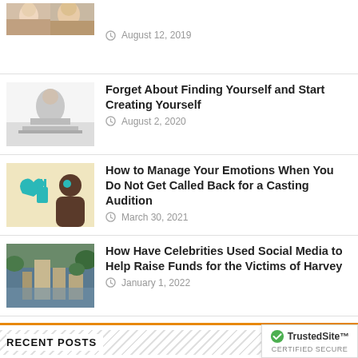[Figure (photo): Photo of two women, partially visible at top]
August 12, 2019
Forget About Finding Yourself and Start Creating Yourself
August 2, 2020
[Figure (photo): Person painting on a large canvas on the floor]
How to Manage Your Emotions When You Do Not Get Called Back for a Casting Audition
March 30, 2021
[Figure (illustration): Illustration of person with teal heart and plug graphic]
How Have Celebrities Used Social Media to Help Raise Funds for the Victims of Harvey
January 1, 2022
[Figure (photo): Aerial photo of flooded city area]
RECENT POSTS
Does Everyone On A Reality TV Show Get Paid?
Don't Get Discouraged If You Didn't Get The Audition
Keeping Private During the Casting Process
[Figure (logo): TrustedSite certified secure badge]